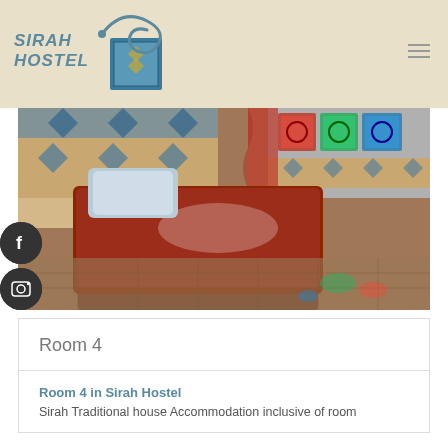[Figure (logo): Sirah Hostel logo with teal Arabic calligraphy and decorative tile square, text reading SIRAH HOSTEL]
[Figure (photo): Interior photo of Room 4 at Sirah Hostel showing a bed with dark red/maroon bedspread, blue and gold geometric tile wall decoration, and colorful stained glass windows in the background]
Room 4
Room 4 in Sirah Hostel
Sirah Traditional house Accommodation inclusive of room